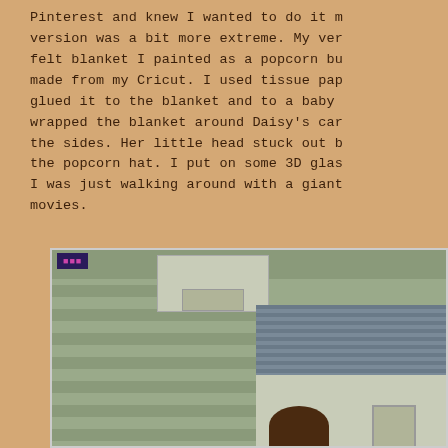Pinterest and knew I wanted to do it m version was a bit more extreme. My ver felt blanket I painted as a popcorn bu made from my Cricut. I used tissue pap glued it to the blanket and to a baby wrapped the blanket around Daisy's car the sides. Her little head stuck out b the popcorn hat. I put on some 3D glas I was just walking around with a giant movies.
[Figure (photo): Outdoor photo showing a house exterior with light green/grey siding, a garage with white trim, a dark blue sign with pink/magenta text visible, a shingled roof on the right side, and the top of a person's head with dark hair at the bottom.]